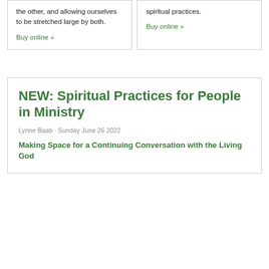the other, and allowing ourselves to be stretched large by both.
Buy online »
spiritual practices.
Buy online »
NEW: Spiritual Practices for People in Ministry
Lynne Baab · Sunday June 26 2022
Making Space for a Continuing Conversation with the Living God